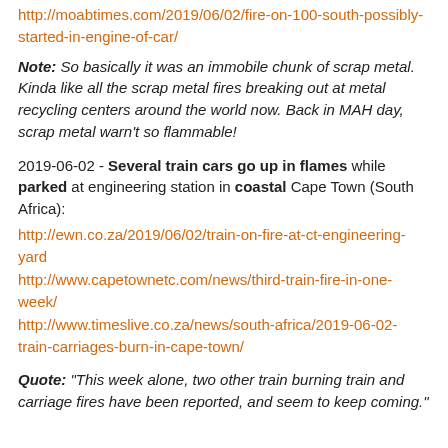http://moabtimes.com/2019/06/02/fire-on-100-south-possibly-started-in-engine-of-car/
Note: So basically it was an immobile chunk of scrap metal. Kinda like all the scrap metal fires breaking out at metal recycling centers around the world now. Back in MAH day, scrap metal warn't so flammable!
2019-06-02 - Several train cars go up in flames while parked at engineering station in coastal Cape Town (South Africa):
http://ewn.co.za/2019/06/02/train-on-fire-at-ct-engineering-yard
http://www.capetownetc.com/news/third-train-fire-in-one-week/
http://www.timeslive.co.za/news/south-africa/2019-06-02-train-carriages-burn-in-cape-town/
Quote: "This week alone, two other train burning train and carriage fires have been reported, and seem to keep coming."